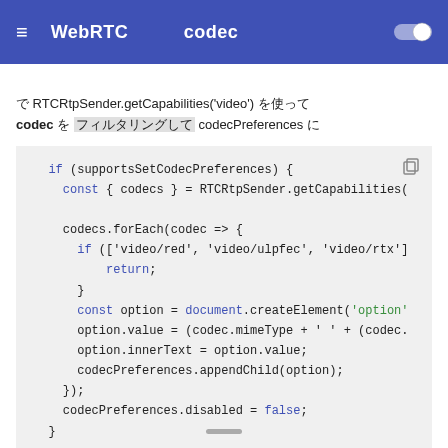WebRTC　　　codec
で RTCRtpSender.getCapabilities('video') を使って codec を フィルタリングして codecPreferences に
[Figure (screenshot): JavaScript code block showing codec preferences logic using RTCRtpSender, codecs.forEach, document.createElement, and codecPreferences.appendChild]